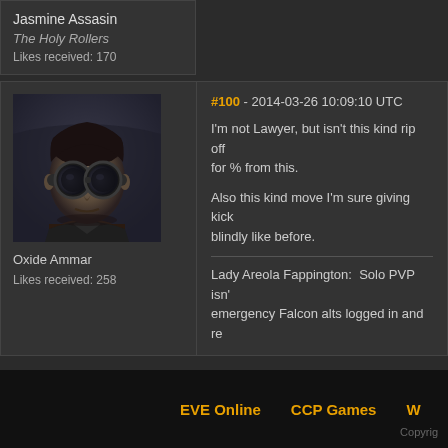Jasmine Assasin
The Holy Rollers
Likes received: 170
[Figure (photo): Avatar portrait of Oxide Ammar - a man with dark short hair wearing goggles in a sci-fi style]
Oxide Ammar
Likes received: 258
#100 - 2014-03-26 10:09:10 UTC
I'm not Lawyer, but isn't this kind rip off for % from this.
Also this kind move I'm sure giving kick blindly like before.
Lady Areola Fappington:  Solo PVP isn't emergency Falcon alts logged in and re
3 4 5 6 7
EVE Online   CCP Games   W   Copyright